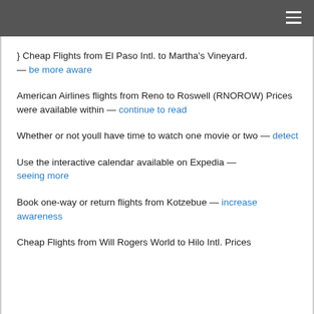} Cheap Flights from El Paso Intl. to Martha's Vineyard. — be more aware
American Airlines flights from Reno to Roswell (RNOROW) Prices were available within — continue to read
Whether or not youll have time to watch one movie or two — detect
Use the interactive calendar available on Expedia — seeing more
Book one-way or return flights from Kotzebue — increase awareness
Cheap Flights from Will Rogers World to Hilo Intl. Prices